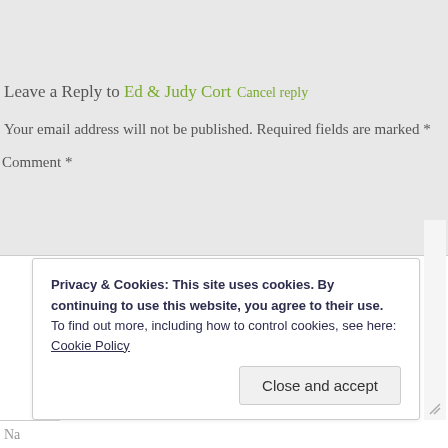Leave a Reply to Ed & Judy Cort Cancel reply
Your email address will not be published. Required fields are marked *
Comment *
[Figure (screenshot): Empty comment text area input box]
Privacy & Cookies: This site uses cookies. By continuing to use this website, you agree to their use. To find out more, including how to control cookies, see here: Cookie Policy
Close and accept
Na